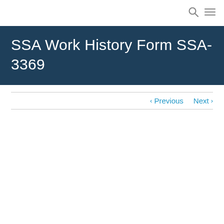🔍 ☰
SSA Work History Form SSA-3369
‹ Previous   Next ›